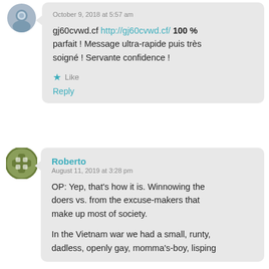October 9, 2018 at 5:57 am
gj60cvwd.cf http://gj60cvwd.cf/ 100 % parfait ! Message ultra-rapide puis très soigné ! Servante confidence !
★ Like
Reply
Roberto
August 11, 2019 at 3:28 pm
OP: Yep, that's how it is. Winnowing the doers vs. from the excuse-makers that make up most of society.
In the Vietnam war we had a small, runty, dadless, openly gay, momma's-boy, lisping